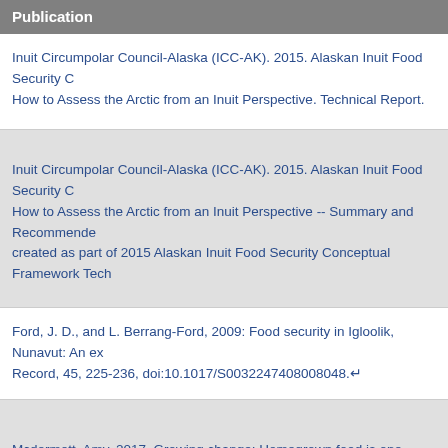Publication
Inuit Circumpolar Council-Alaska (ICC-AK). 2015. Alaskan Inuit Food Security C... How to Assess the Arctic from an Inuit Perspective. Technical Report.
Inuit Circumpolar Council-Alaska (ICC-AK). 2015. Alaskan Inuit Food Security C... How to Assess the Arctic from an Inuit Perspective -- Summary and Recommende... created as part of 2015 Alaskan Inuit Food Security Conceptual Framework Tech...
Ford, J. D., and L. Berrang-Ford, 2009: Food security in Igloolik, Nunavut: An ex... Record, 45, 225-236, doi:10.1017/S0032247408008048.↵
Mcdermott, Amy. 2017. Growing change: Homegrown food is one safety net in a... Native Americans. SALON.